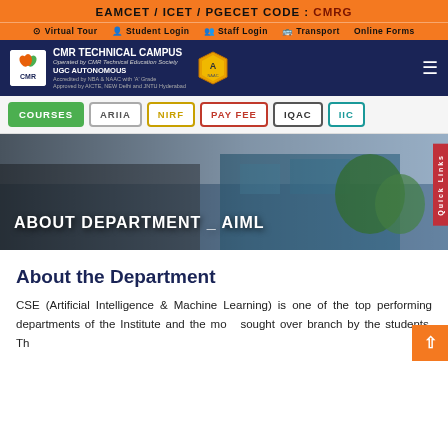EAMCET / ICET / PGECET CODE : CMRG
Virtual Tour | Student Login | Staff Login | Transport | Online Forms
CMR TECHNICAL CAMPUS | UGC AUTONOMOUS
COURSES | ARIIA | NIRF | PAY FEE | IQAC | IIC
[Figure (photo): Hero banner with group photo of students and faculty, overlaid with text 'ABOUT DEPARTMENT _ AIML' and a Quick Links tab on the right side.]
About the Department
CSE (Artificial Intelligence & Machine Learning) is one of the top performing departments of the Institute and the most sought over branch by the students. Th...